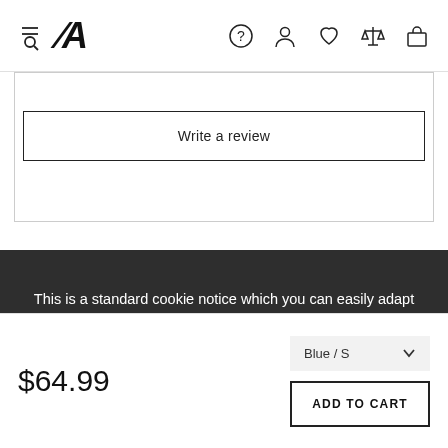JA [logo] — navigation icons: help, account, wishlist, compare, cart
Write a review
Related Products
This is a standard cookie notice which you can easily adapt or disable as you like in the admin. We use cookies to ensure that we give you the best experience on our website.
PRIVACY POLICY   ACCEPT ✓
$64.99
Blue / S
ADD TO CART